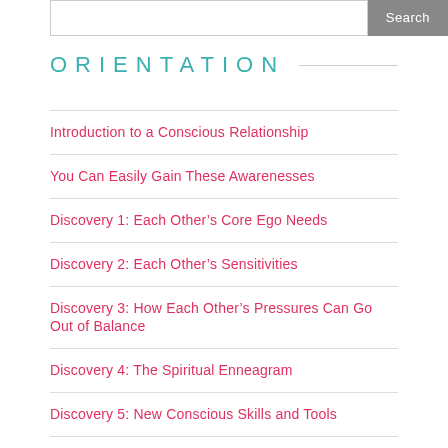Search
ORIENTATION
Introduction to a Conscious Relationship
You Can Easily Gain These Awarenesses
Discovery 1: Each Other's Core Ego Needs
Discovery 2: Each Other's Sensitivities
Discovery 3: How Each Other's Pressures Can Go Out of Balance
Discovery 4: The Spiritual Enneagram
Discovery 5: New Conscious Skills and Tools
Discovery 6: Your Personal Road Map to Wholeness